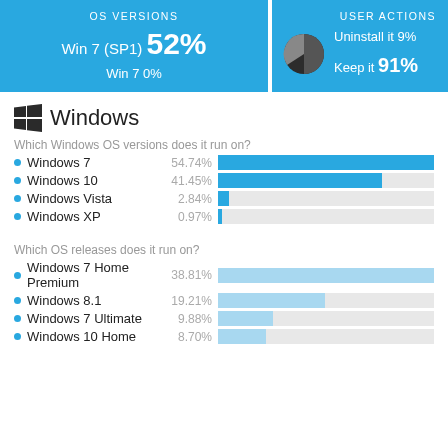[Figure (infographic): OS Versions summary box: Win 7 (SP1) 52%, Win 7 0%]
[Figure (infographic): User Actions summary box with pie chart icon: Uninstall it 9%, Keep it 91%]
Windows
Which Windows OS versions does it run on?
[Figure (bar-chart): Which Windows OS versions does it run on?]
Which OS releases does it run on?
[Figure (bar-chart): Which OS releases does it run on?]